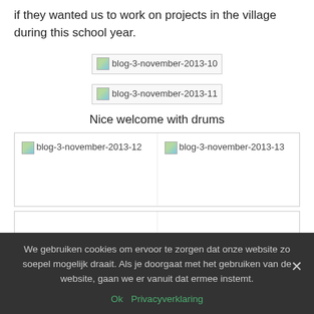if they wanted us to work on projects in the village during this school year.
[Figure (photo): Broken/missing image placeholder labeled blog-3-november-2013-10]
[Figure (photo): Broken/missing image placeholder labeled blog-3-november-2013-11]
Nice welcome with drums
[Figure (photo): Two-column grid with broken image placeholders: blog-3-november-2013-12 and blog-3-november-2013-13]
We gebruiken cookies om ervoor te zorgen dat onze website zo soepel mogelijk draait. Als je doorgaat met het gebruiken van de website, gaan we er vanuit dat ermee instemt.
Ok   Privacyverklaring